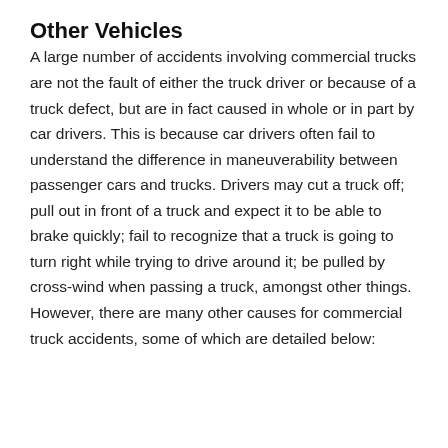Other Vehicles
A large number of accidents involving commercial trucks are not the fault of either the truck driver or because of a truck defect, but are in fact caused in whole or in part by car drivers. This is because car drivers often fail to understand the difference in maneuverability between passenger cars and trucks. Drivers may cut a truck off; pull out in front of a truck and expect it to be able to brake quickly; fail to recognize that a truck is going to turn right while trying to drive around it; be pulled by cross-wind when passing a truck, amongst other things. However, there are many other causes for commercial truck accidents, some of which are detailed below: